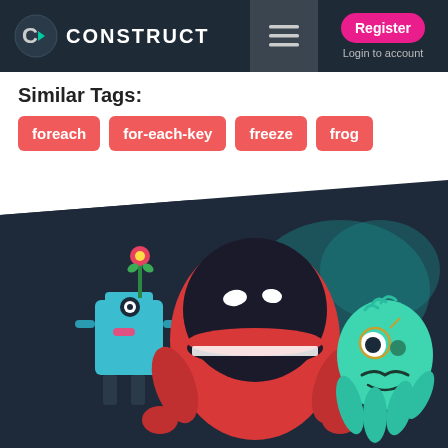CONSTRUCT — Register | Login to account
Similar Tags:
foreach
for-each-key
freeze
frog
[Figure (illustration): Colorful cartoon characters: a blue robot with a flower, a large red creature with a wide grinning mouth, and a teal octopus-like character with a monocle and mustache, on a dark navy background.]